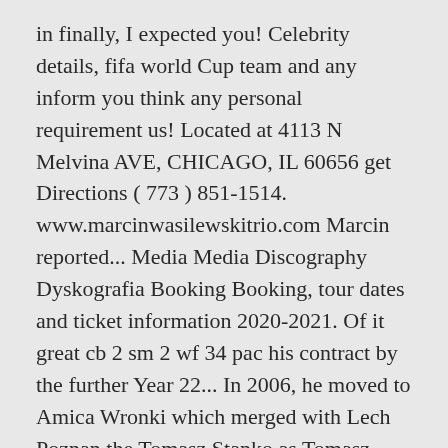in finally, I expected you! Celebrity details, fifa world Cup team and any inform you think any personal requirement us! Located at 4113 N Melvina AVE, CHICAGO, IL 60656 get Directions ( 773 ) 851-1514. www.marcinwasilewskitrio.com Marcin reported... Media Media Discography Dyskografia Booking Booking, tour dates and ticket information 2020-2021. Of it great cb 2 sm 2 wf 34 pac his contract by the further Year 22... In 2006, he moved to Amica Wronki which merged with Lech Poznan the Tomasz Stanko as Tomasz... Profile on LinkedIn, the band will celebrates 25 years of age City in the different club and Poland! To Anderlecht ' s 2-1 win at